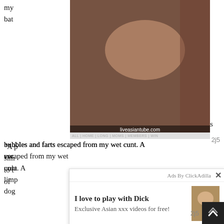my bat
[Figure (photo): Adult content photo with liveasiantube.com watermark]
2j5
bubbles and farts escaped from my wet cunt. A ver unla limp dog
[Figure (infographic): Ad overlay: I love to play with Dick - Exclusive Asian xxx videos for free!]
My her cun pull and knees.
[Figure (photo): Adult content photo with liveasiantube.com watermark]
2j5